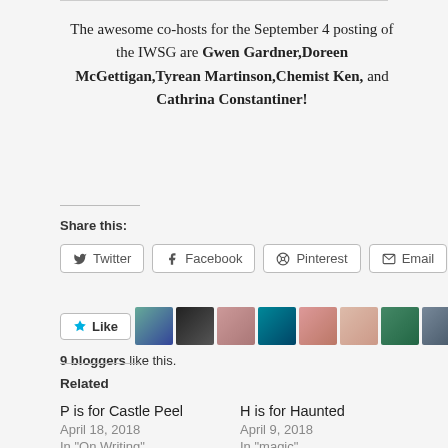The awesome co-hosts for the September 4 posting of the IWSG are Gwen Gardner,Doreen McGettigan,Tyrean Martinson,Chemist Ken, and Cathrina Constantiner!
Share this:
[Figure (infographic): Social share buttons: Twitter, Facebook, Pinterest, Email]
[Figure (infographic): Like button with 9 blogger avatar thumbnails]
9 bloggers like this.
Related
P is for Castle Peel
April 18, 2018
In "On Writing"
H is for Haunted
April 9, 2018
In "magic"